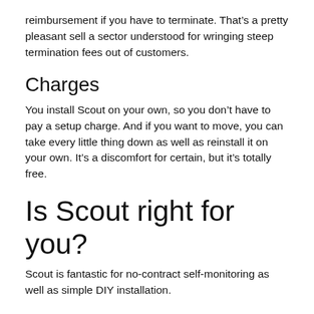reimbursement if you have to terminate. That’s a pretty pleasant sell a sector understood for wringing steep termination fees out of customers.
Charges
You install Scout on your own, so you don’t have to pay a setup charge. And if you want to move, you can take every little thing down as well as reinstall it on your own. It’s a discomfort for certain, but it’s totally free.
Is Scout right for you?
Scout is fantastic for no-contract self-monitoring as well as simple DIY installation.